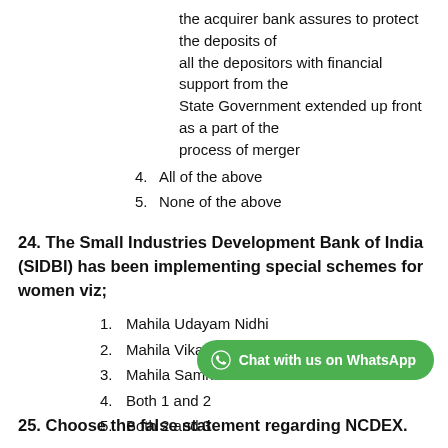the acquirer bank assures to protect the deposits of all the depositors with financial support from the State Government extended up front as a part of the process of merger
4. All of the above
5. None of the above
24. The Small Industries Development Bank of India (SIDBI) has been implementing special schemes for women viz;
1. Mahila Udayam Nidhi
2. Mahila Vikas Nidhi
3. Mahila Samridh Nidhi
4. Both 1 and 2
5. Both 2 and 3
25. Choose the false statement regarding NCDEX.